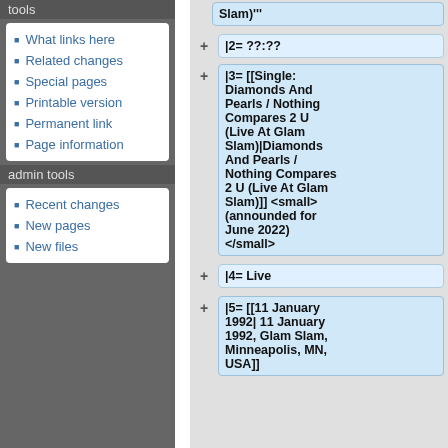tools
What links here
Related changes
Special pages
Printable version
Permanent link
Page information
admin tools
Recent changes
New pages
New files
Slam)"'
|2= ??:??
|3= [[Single:Diamonds And Pearls / Nothing Compares 2 U (Live At Glam Slam)|Diamonds And Pearls / Nothing Compares 2 U (Live At Glam Slam)]] <small>(announded for June 2022)</small>
|4= Live
|5= [[11 January 1992| 11 January 1992, Glam Slam, Minneapolis, MN, USA]]